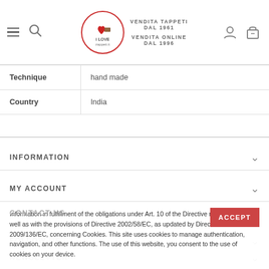VENDITA TAPPETI DAL 1961 VENDITA ONLINE DAL 1996
| Technique | Country |
| --- | --- |
| Technique | hand made |
| Country | India |
INFORMATION
MY ACCOUNT
CONTACT US
FOLLOW US
NEWSLETTER
Information in fulfillment of the obligations under Art. 10 of the Directive n. 95/46/EC, as well as with the provisions of Directive 2002/58/EC, as updated by Directive 2009/136/EC, concerning Cookies. This site uses cookies to manage authentication, navigation, and other functions. The use of this website, you consent to the use of cookies on your device.